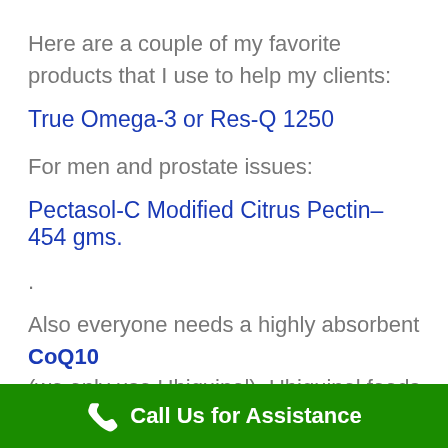Here are a couple of my favorite products that I use to help my clients:
True Omega-3 or Res-Q 1250
For men and prostate issues:
Pectasol-C Modified Citrus Pectin– 454 gms.
.
Also everyone needs a highly absorbent CoQ10 (we only use Ubiquinol). Ubiquinol foods muscle
Call Us for Assistance